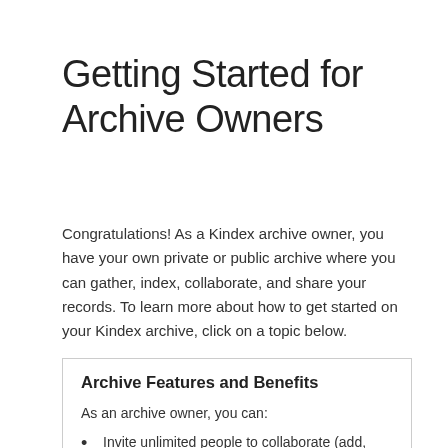Getting Started for Archive Owners
Congratulations! As a Kindex archive owner, you have your own private or public archive where you can gather, index, collaborate, and share your records. To learn more about how to get started on your Kindex archive, click on a topic below.
Archive Features and Benefits
As an archive owner, you can:
Invite unlimited people to collaborate (add, index, and search records) on your archive free of charge